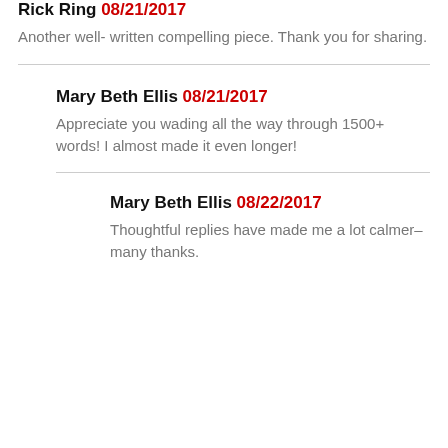Rick Ring 08/21/2017
Another well- written compelling piece. Thank you for sharing.
Mary Beth Ellis 08/21/2017
Appreciate you wading all the way through 1500+ words! I almost made it even longer!
Mary Beth Ellis 08/22/2017
Thoughtful replies have made me a lot calmer–many thanks.